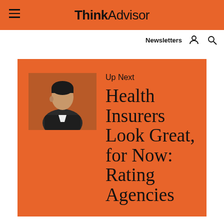ThinkAdvisor
Newsletters
[Figure (photo): Portrait photo of a man in a suit, side profile, on an orange background]
Up Next
Health Insurers Look Great, for Now: Rating Agencies